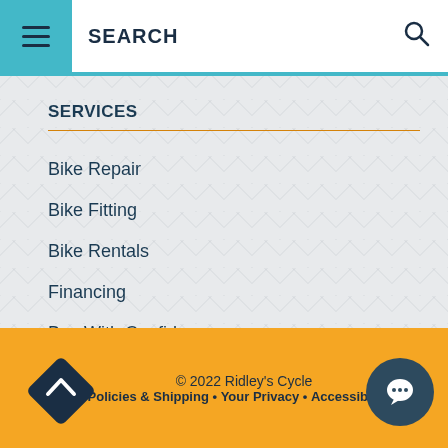SEARCH
SERVICES
Bike Repair
Bike Fitting
Bike Rentals
Financing
Buy With Confidence
Click & Collect
© 2022 Ridley's Cycle
Policies & Shipping • Your Privacy • Accessibility